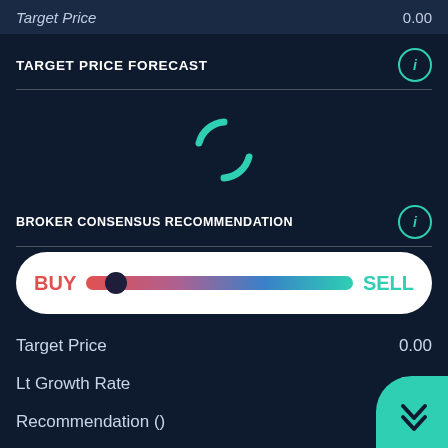Target Price   0.00
TARGET PRICE FORECAST
[Figure (other): Loading spinner icon in teal color]
BROKER CONSENSUS RECOMMENDATION
[Figure (other): BUY to SELL gradient slider with thumb near BUY end]
Target Price   0.00
Lt Growth Rate   0.00
Recommendation ()   0.00